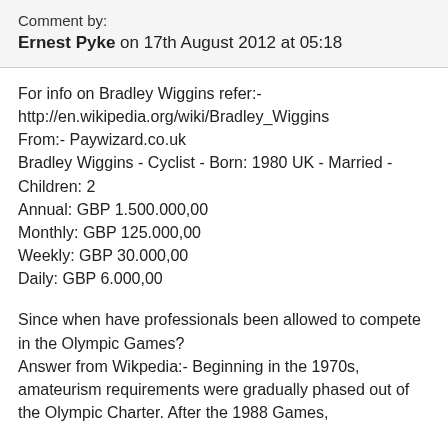Comment by:
Ernest Pyke on 17th August 2012 at 05:18
For info on Bradley Wiggins refer:-
http://en.wikipedia.org/wiki/Bradley_Wiggins
From:- Paywizard.co.uk
Bradley Wiggins - Cyclist - Born: 1980 UK - Married - Children: 2
Annual: GBP 1.500.000,00
Monthly: GBP 125.000,00
Weekly: GBP 30.000,00
Daily: GBP 6.000,00
Since when have professionals been allowed to compete in the Olympic Games?
Answer from Wikpedia:- Beginning in the 1970s, amateurism requirements were gradually phased out of the Olympic Charter. After the 1988 Games,